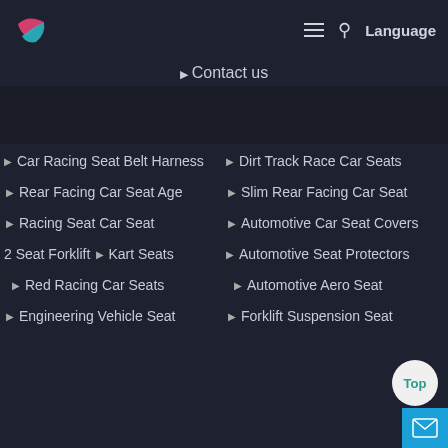[Figure (logo): Company logo with pink and teal swoosh design]
Contact us
Car Racing Seat Belt Harness
Dirt Track Race Car Seats
Rear Facing Car Seat Age
Slim Rear Facing Car Seat
Racing Seat Car Seat
Automotive Car Seat Covers
2 Seat Forklift
Kart Seats
Automotive Seat Protectors
Red Racing Car Seats
Automotive Aero Seat
Engineering Vehicle Seat
Forklift Suspension Seat